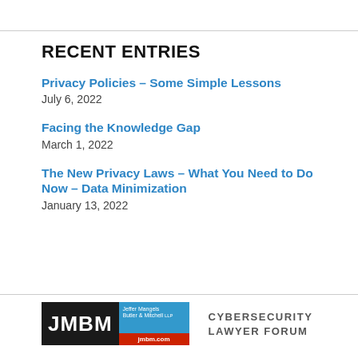RECENT ENTRIES
Privacy Policies – Some Simple Lessons
July 6, 2022
Facing the Knowledge Gap
March 1, 2022
The New Privacy Laws – What You Need to Do Now – Data Minimization
January 13, 2022
[Figure (logo): JMBM Jeffer Mangels Butler & Mitchell LLP logo with jmbm.com URL bar]
CYBERSECURITY LAWYER FORUM